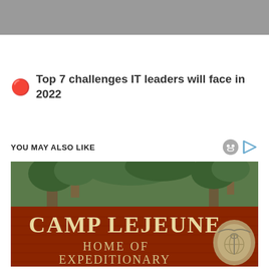[Figure (photo): Gray bar at top of page, partial screenshot of a webpage header]
Top 7 challenges IT leaders will face in 2022
YOU MAY ALSO LIKE
[Figure (photo): Photo of Camp Lejeune entrance sign reading 'CAMP LEJEUNE HOME OF EXPEDITIONARY' with trees and Marine Corps emblem]